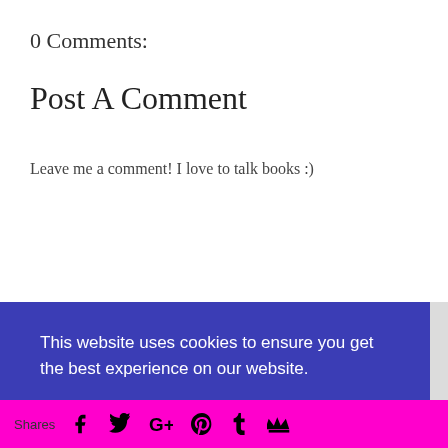0 Comments:
Post A Comment
Leave me a comment! I love to talk books :)
[Figure (illustration): Comment input area with a circular avatar icon on the left and an 'Enter Comment' placeholder text input field with a bottom border on the right]
This website uses cookies to ensure you get the best experience on our website.
Learn more
Got it!
Shares  [Facebook] [Twitter] [Google+] [Pinterest] [Tumblr] [Crown]